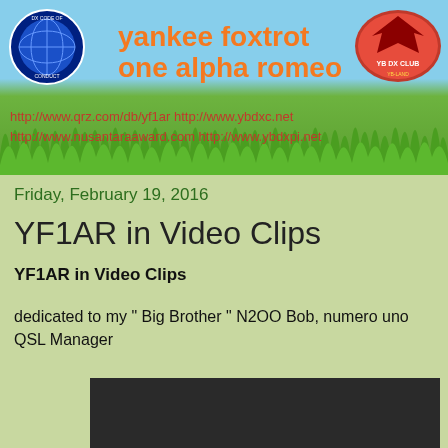yankee foxtrot one alpha romeo
http://www.qrz.com/db/yf1ar http://www.ybdxc.net http://www.nusantaraaward.com http://www.ybdxpi.net
Friday, February 19, 2016
YF1AR in Video Clips
YF1AR in Video Clips
dedicated to my " Big Brother " N2OO Bob, numero uno QSL Manager
[Figure (screenshot): Dark video player placeholder at the bottom of the page]